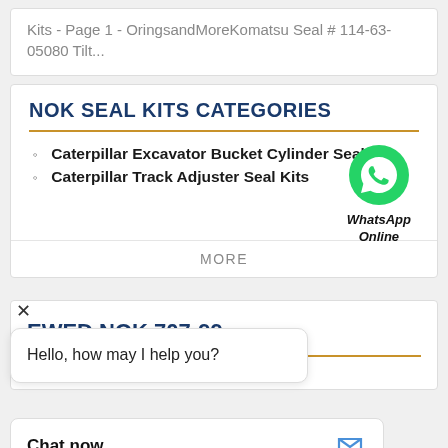Kits - Page 1 - OringsandMoreKomatsu Seal # 114-63-05080 Tilt...
NOK SEAL KITS CATEGORIES
Caterpillar Excavator Bucket Cylinder Seal Kit
Caterpillar Track Adjuster Seal Kits
[Figure (logo): WhatsApp green phone icon with label 'WhatsApp Online']
MORE
×
EWED NOK 707-99-
Hello, how may I help you?
Chat now